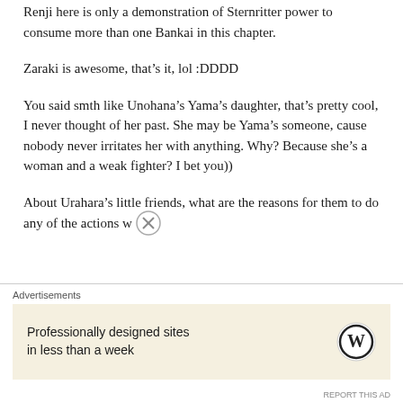Renji here is only a demonstration of Sternritter power to consume more than one Bankai in this chapter.
Zaraki is awesome, that's it, lol :DDDD
You said smth like Unohana's Yama's daughter, that's pretty cool, I never thought of her past. She may be Yama's someone, cause nobody never irritates her with anything. Why? Because she's a woman and a weak fighter? I bet you))
About Urahara's little friends, what are the reasons for them to do any of the actions w
Advertisements
Professionally designed sites in less than a week